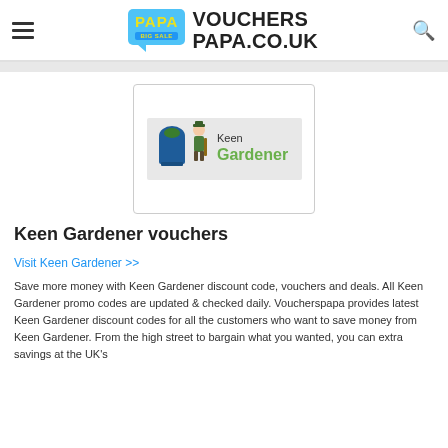VOUCHERSPAPA.CO.UK
[Figure (logo): Keen Gardener brand logo showing a cartoon gardener figure next to a blue compost bin, with text 'Keen Gardener' in green]
Keen Gardener vouchers
Visit Keen Gardener >>
Save more money with Keen Gardener discount code, vouchers and deals. All Keen Gardener promo codes are updated & checked daily. Voucherspapa provides latest Keen Gardener discount codes for all the customers who want to save money from Keen Gardener. From the high street to bargain what you wanted, you can extra savings at the UK's